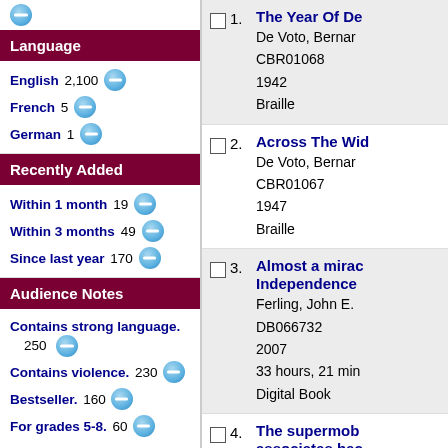Language
English 2,100
French 5
German 1
Recently Added
Within 1 month 19
Within 3 months 49
Since last year 170
Audience Notes
Contains strong language. 250
Contains violence. 230
Bestseller. 160
For grades 5-8. 60
Show more...
1. The Year Of De... / De Voto, Bernar... / CBR01068 / 1942 / Braille
2. Across The Wid... / De Voto, Bernar... / CBR01067 / 1947 / Braille
3. Almost a mirac... Independence... / Ferling, John E. / DB066732 / 2007 / 33 hours, 21 min... / Digital Book
4. The supermob associates bec... / Russo, Gus